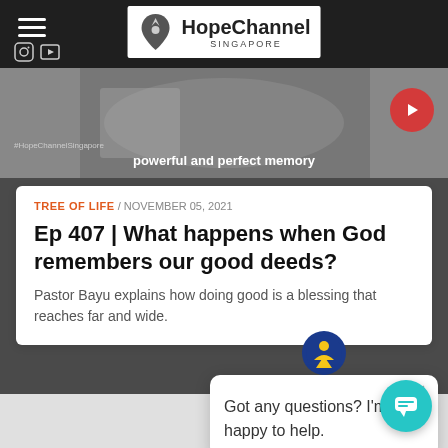[Figure (screenshot): Hope Channel Singapore website screenshot with navigation bar showing hamburger menu, social icons, logo, and a video thumbnail with text 'powerful and perfect memory']
TREE OF LIFE / NOVEMBER 05, 2021
Ep 407 | What happens when God remembers our good deeds?
Pastor Bayu explains how doing good is a blessing that reaches far and wide.
[Figure (screenshot): Chat popup widget with Hope Channel logo icon, close button, and message 'Got any questions? I'm happy to help.' with a teal chat bubble button in the bottom right corner]